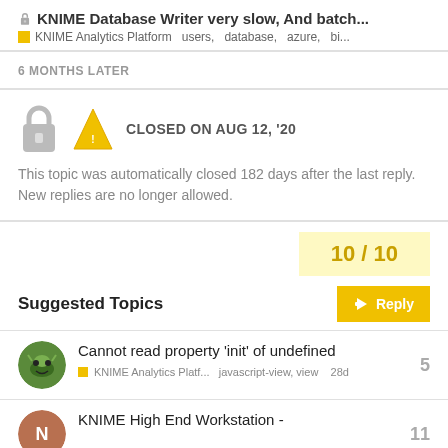🔒 KNIME Database Writer very slow, And batch... KNIME Analytics Platform  users, database, azure, bi...
6 MONTHS LATER
CLOSED ON AUG 12, '20
This topic was automatically closed 182 days after the last reply. New replies are no longer allowed.
10 / 10
Reply
Suggested Topics
Cannot read property 'init' of undefined
KNIME Analytics Platf...  javascript-view, view  28d  5
KNIME High End Workstation -  11